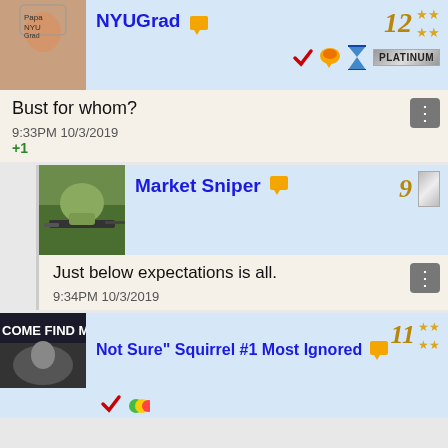[Figure (screenshot): Social media forum post thread with user avatars and comments]
NYUGrad
Bust for whom?
9:33PM 10/3/2019
+1
[Figure (photo): Military sniper in camouflage in bushes with rifle]
Market Sniper
Just below expectations is all.
9:34PM 10/3/2019
Not Sure" Squirrel #1 Most Ignored